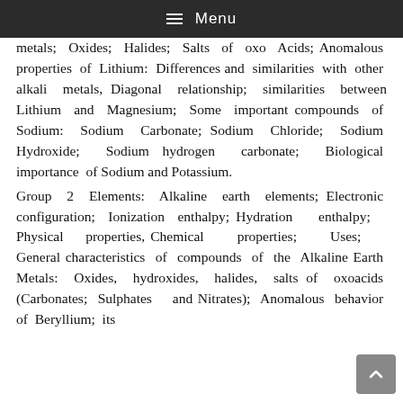≡ Menu
metals; Oxides; Halides; Salts of oxo Acids; Anomalous properties of Lithium: Differences and similarities with other alkali metals, Diagonal relationship; similarities between Lithium and Magnesium; Some important compounds of Sodium: Sodium Carbonate; Sodium Chloride; Sodium Hydroxide; Sodium hydrogen carbonate; Biological importance of Sodium and Potassium.
Group 2 Elements: Alkaline earth elements; Electronic configuration; Ionization enthalpy; Hydration enthalpy; Physical properties, Chemical properties; Uses; General characteristics of compounds of the Alkaline Earth Metals: Oxides, hydroxides, halides, salts of oxoacids (Carbonates; Sulphates and Nitrates); Anomalous behavior of Beryllium; its